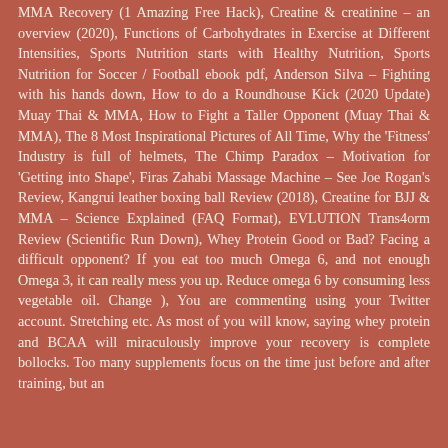MMA Recovery (1 Amazing Free Hack), Creatine & creatinine – an overview (2020), Functions of Carbohydrates in Exercise at Different Intensities, Sports Nutrition starts with Healthy Nutrition, Sports Nutrition for Soccer / Football ebook pdf, Anderson Silva – Fighting with his hands down, How to do a Roundhouse Kick (2020 Update) Muay Thai & MMA, How to Fight a Taller Opponent (Muay Thai & MMA), The 8 Most Inspirational Pictures of All Time, Why the 'Fitness' Industry is full of helmets, The Chimp Paradox – Motivation for 'Getting into Shape', Firas Zahabi Massage Machine – See Joe Rogan's Review, Kangrui leather boxing ball Review (2018), Creatine for BJJ & MMA – Science Explained (FAQ Format), EVLUTION Trans4orm Review (Scientific Run Down), Whey Protein Good or Bad? Facing a difficult opponent? If you eat too much Omega 6, and not enough Omega 3, it can really mess you up. Reduce omega 6 by consuming less vegetable oil. Change ), You are commenting using your Twitter account. Stretching etc. As most of you will know, saying whey protein and BCAA will miraculously improve your recovery is complete bollocks. Too many supplements focus on the time just before and after training, but an